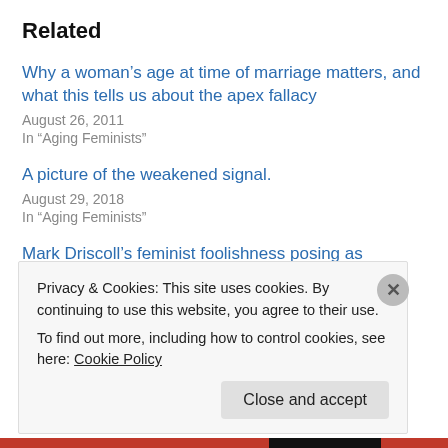Related
Why a woman’s age at time of marriage matters, and what this tells us about the apex fallacy
August 26, 2011
In "Aging Feminists"
A picture of the weakened signal.
August 29, 2018
In "Aging Feminists"
Mark Driscoll’s feminist foolishness posing as Christian wisdom.
January 16, 2012
In "Ageing Feminists"
Privacy & Cookies: This site uses cookies. By continuing to use this website, you agree to their use.
To find out more, including how to control cookies, see here: Cookie Policy